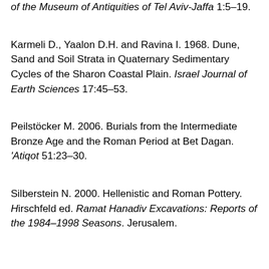of the Museum of Antiquities of Tel Aviv-Jaffa 1:5–19.
Karmeli D., Yaalon D.H. and Ravina I. 1968. Dune, Sand and Soil Strata in Quaternary Sedimentary Cycles of the Sharon Coastal Plain. Israel Journal of Earth Sciences 17:45–53.
Peilstöcker M. 2006. Burials from the Intermediate Bronze Age and the Roman Period at Bet Dagan. 'Atiqot 51:23–30.
Silberstein N. 2000. Hellenistic and Roman Pottery. Hirschfeld ed. Ramat Hanadiv Excavations: Reports of the 1984–1998 Seasons. Jerusalem.